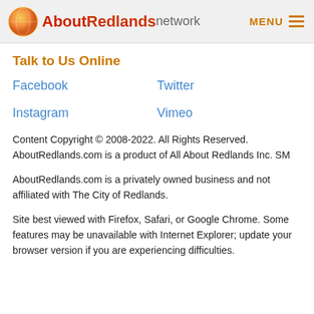AboutRedlands network | MENU
Talk to Us Online
Facebook
Twitter
Instagram
Vimeo
Content Copyright © 2008-2022. All Rights Reserved. AboutRedlands.com is a product of All About Redlands Inc. SM
AboutRedlands.com is a privately owned business and not affiliated with The City of Redlands.
Site best viewed with Firefox, Safari, or Google Chrome. Some features may be unavailable with Internet Explorer; update your browser version if you are experiencing difficulties.